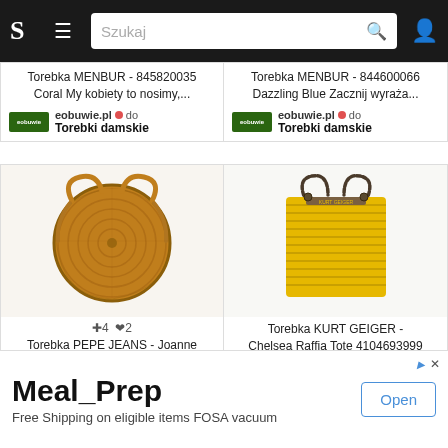[Figure (screenshot): Mobile app top navigation bar with logo 'S', hamburger menu, search box with 'Szukaj' placeholder, and user icon]
Torebka MENBUR - 845820035
Coral My kobiety to nosimy,...
eobuwie.pl do
Torebki damskie
Torebka MENBUR - 844600066
Dazzling Blue Zacznij wyraża...
eobuwie.pl do
Torebki damskie
[Figure (photo): Round rattan/wicker crossbody bag with brown leather straps]
+4 ♥2
Torebka PEPE JEANS - Joanne
[Figure (photo): Yellow woven tote bag (Chelsea Raffia Tote) by Kurt Geiger with chain handles]
Torebka KURT GEIGER -
Chelsea Raffia Tote 4104693999
Żó...
Meal_Prep
Free Shipping on eligible items FOSA vacuum
Open